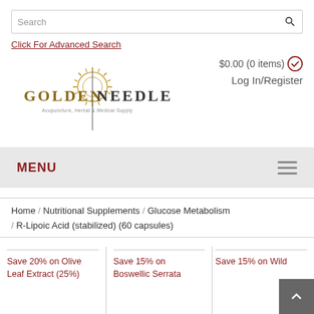Search
Click For Advanced Search
[Figure (logo): Golden Needle Acupuncture, Herbal & Medical Supply logo with sunburst emblem]
$0.00 (0 items) Log In/Register
MENU
Home / Nutritional Supplements / Glucose Metabolism / R-Lipoic Acid (stabilized) (60 capsules)
Save 20% on Olive Leaf Extract (25%)
Save 15% on Boswellic Serrata...
Save 15% on Wild Alaskan...